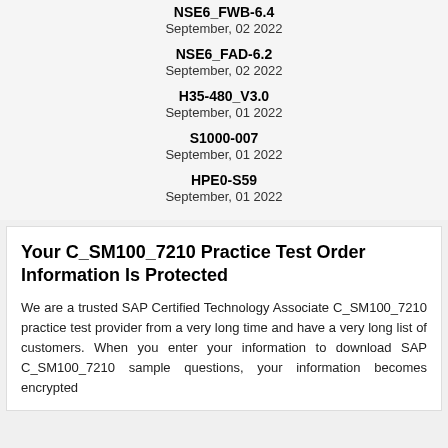NSE6_FWB-6.4
September, 02 2022
NSE6_FAD-6.2
September, 02 2022
H35-480_V3.0
September, 01 2022
S1000-007
September, 01 2022
HPE0-S59
September, 01 2022
Your C_SM100_7210 Practice Test Order Information Is Protected
We are a trusted SAP Certified Technology Associate C_SM100_7210 practice test provider from a very long time and have a very long list of customers. When you enter your information to download SAP C_SM100_7210 sample questions, your information becomes encrypted